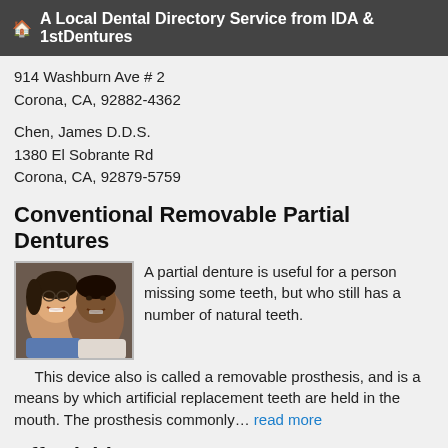A Local Dental Directory Service from IDA & 1stDentures
914 Washburn Ave # 2
Corona, CA, 92882-4362
Chen, James D.D.S.
1380 El Sobrante Rd
Corona, CA, 92879-5759
Conventional Removable Partial Dentures
[Figure (photo): A smiling couple, man and woman, close together]
A partial denture is useful for a person missing some teeth, but who still has a number of natural teeth.
This device also is called a removable prosthesis, and is a means by which artificial replacement teeth are held in the mouth. The prosthesis commonly… read more
Affordable Dentures
[Figure (photo): Close-up of a woman's face with blue eyes, looking upward]
In the best of all possible worlds, false teeth last forever. But in fact, over time, the tissues in your mouth change, and even the best...